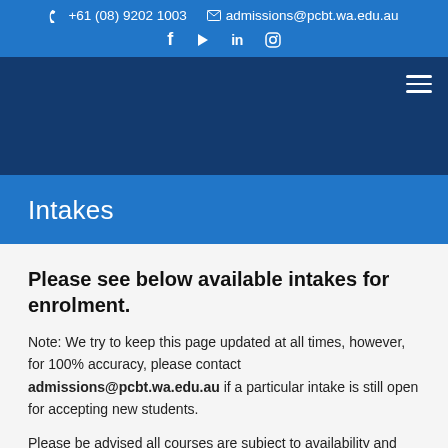+61 (08) 9202 1003   admissions@pcbt.wa.edu.au   f  ▶  in  ⊙
[Figure (other): Dark navy navigation bar with hamburger menu icon on the right]
Intakes
Please see below available intakes for enrolment.
Note: We try to keep this page updated at all times, however, for 100% accuracy, please contact admissions@pcbt.wa.edu.au if a particular intake is still open for accepting new students.
Please be advised all courses are subject to availability and